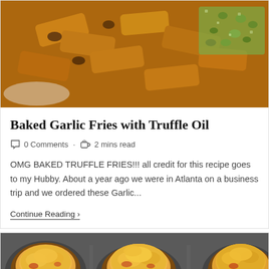[Figure (photo): Close-up photo of baked garlic fries with truffle oil, topped with chopped green herbs, golden-brown with some charred edges]
Baked Garlic Fries with Truffle Oil
0 Comments · 2 mins read
OMG BAKED TRUFFLE FRIES!!! all credit for this recipe goes to my Hubby. About a year ago we were in Atlanta on a business trip and we ordered these Garlic...
Continue Reading ›
[Figure (photo): Photo of mac and cheese or cheesy casserole baked in individual round muffin/ramekin tins, golden-brown cheesy tops]